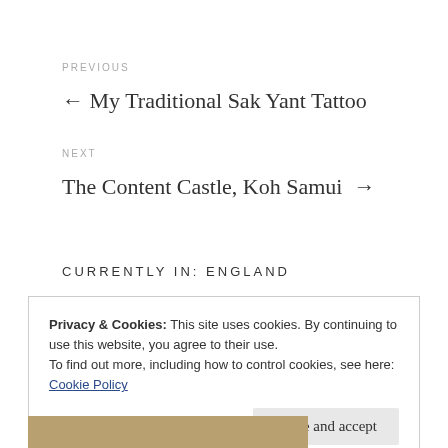PREVIOUS
← My Traditional Sak Yant Tattoo
NEXT
The Content Castle, Koh Samui →
CURRENTLY IN: ENGLAND
Privacy & Cookies: This site uses cookies. By continuing to use this website, you agree to their use.
To find out more, including how to control cookies, see here:
Cookie Policy
Close and accept
[Figure (photo): Partial bottom image visible, appears to be an old illustrated/vintage artwork]